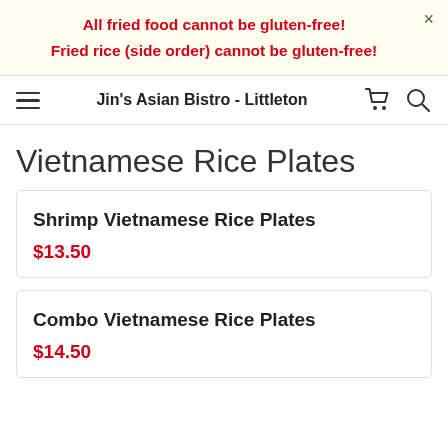All fried food cannot be gluten-free!
Fried rice (side order) cannot be gluten-free!
Jin's Asian Bistro - Littleton
Vietnamese Rice Plates
Shrimp Vietnamese Rice Plates
$13.50
Combo Vietnamese Rice Plates
$14.50